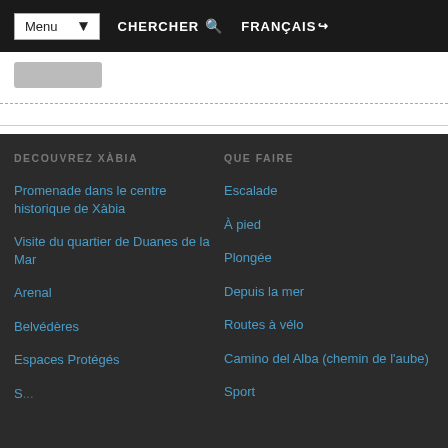Menu | CHERCHER | FRANÇAIS
DECOUVREZ XÀBIA
QUE FAIRE
Promenade dans le centre historique de Xàbia
Visite du quartier de Duanes de la Mar
Arenal
Belvédères
Espaces Protégés
Escalade
À pied
Plongée
Depuis la mer
Routes à vélo
Camino del Alba (chemin de l'aube)
Sport